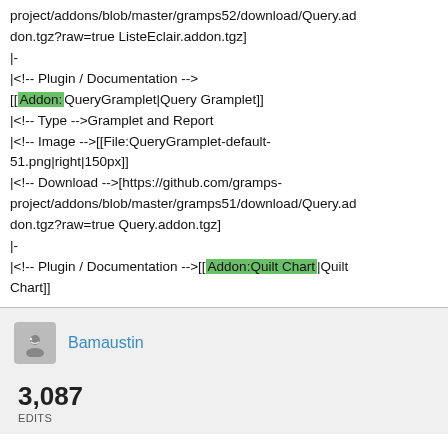project/addons/blob/master/gramps52/download/Query.addon.tgz?raw=true ListeEclair.addon.tgz]
|-
|<!-- Plugin / Documentation -->
[[Addon:QueryGramplet|Query Gramplet]]
|<!-- Type -->Gramplet and Report
|<!-- Image -->[[File:QueryGramplet-default-51.png|right|150px]]
|<!-- Download -->[https://github.com/gramps-project/addons/blob/master/gramps51/download/Query.addon.tgz?raw=true Query.addon.tgz]
|-
|<!-- Plugin / Documentation -->[[Addon:Quilt Chart|Quilt Chart]]
Bamaustin
3,087
EDITS